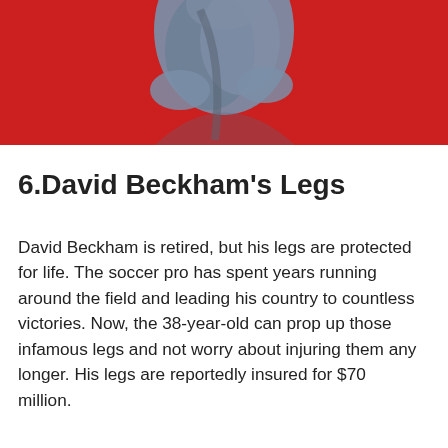[Figure (photo): Close-up photo of a person in a grey/blue outfit against a bright red background, cropped to show upper body and arms]
6.David Beckham's Legs
David Beckham is retired, but his legs are protected for life. The soccer pro has spent years running around the field and leading his country to countless victories. Now, the 38-year-old can prop up those infamous legs and not worry about injuring them any longer. His legs are reportedly insured for $70 million.